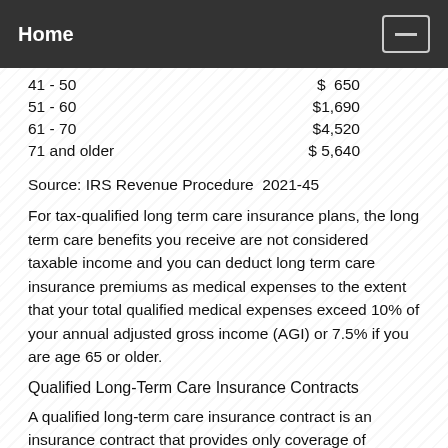Home
| Age | Amount |
| --- | --- |
| 41 - 50 | $  650 |
| 51 - 60 | $1,690 |
| 61 - 70 | $4,520 |
| 71 and older | $ 5,640 |
Source: IRS Revenue Procedure  2021-45
For tax-qualified long term care insurance plans, the long term care benefits you receive are not considered taxable income and you can deduct long term care insurance premiums as medical expenses to the extent that your total qualified medical expenses exceed 10% of your annual adjusted gross income (AGI) or 7.5% if you are age 65 or older.
Qualified Long-Term Care Insurance Contracts
A qualified long-term care insurance contract is an insurance contract that provides only coverage of